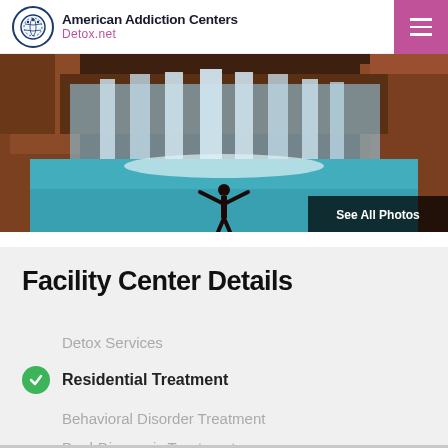American Addiction Centers Detox.net
[Figure (photo): Waterfall scene with a person standing arms outstretched in turquoise water, with red rock canyon walls in the background. 'See All Photos' overlay in bottom right corner.]
Facility Center Details
Detox Services
Residential Treatment
Behavioral Disorder Treatment
Dual-Diagnosis Treatment